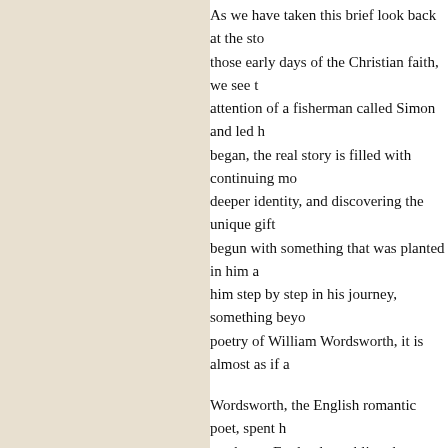As we have taken this brief look back at the story of those early days of the Christian faith, we see the attention of a fisherman called Simon and led him began, the real story is filled with continuing more deeper identity, and discovering the unique gift begun with something that was planted in him and him step by step in his journey, something beyond poetry of William Wordsworth, it is almost as if a
Wordsworth, the English romantic poet, spent his life in northwest England, rambling the countryside and young, and he lived with his guardians who wanted him to become a vicar, to ensure income for him and his sister. But Wordsworth knew he was not a vicar. One morning while walking out in the hill country he came to know deep inside himself that he was indeed a poet. Years later he wrote about this moment in a poem he called Prelude. This is what he wrote: